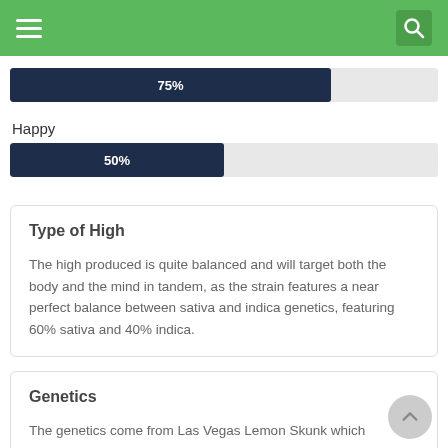Navigation header with hamburger menu and search icon
[Figure (bar-chart): 75% bar]
Happy
[Figure (bar-chart): Happy 50% bar]
Type of High
The high produced is quite balanced and will target both the body and the mind in tandem, as the strain features a near perfect balance between sativa and indica genetics, featuring 60% sativa and 40% indica.
Genetics
The genetics come from Las Vegas Lemon Skunk which